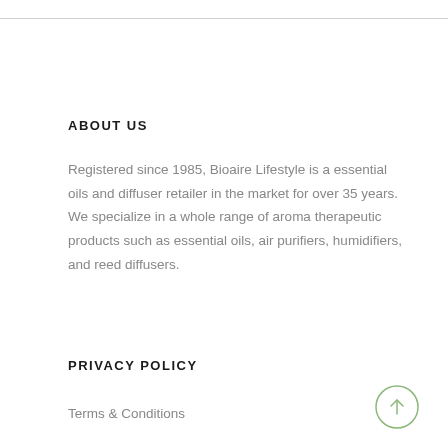ABOUT US
Registered since 1985, Bioaire Lifestyle is a essential oils and diffuser retailer in the market for over 35 years. We specialize in a whole range of aroma therapeutic products such as essential oils, air purifiers, humidifiers, and reed diffusers.
PRIVACY POLICY
Terms & Conditions